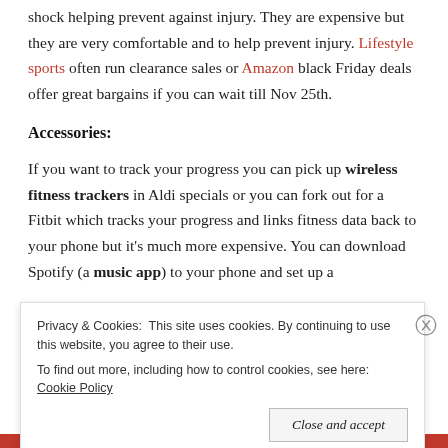shock helping prevent against injury. They are expensive but they are very comfortable and to help prevent injury. Lifestyle sports often run clearance sales or Amazon black Friday deals offer great bargains if you can wait till Nov 25th.
Accessories:
If you want to track your progress you can pick up wireless fitness trackers in Aldi specials or you can fork out for a Fitbit which tracks your progress and links fitness data back to your phone but it's much more expensive. You can download Spotify (a music app) to your phone and set up a
Privacy & Cookies: This site uses cookies. By continuing to use this website, you agree to their use.
To find out more, including how to control cookies, see here: Cookie Policy
Close and accept